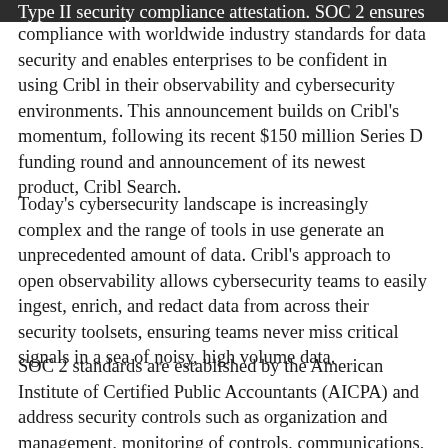Type II security compliance attestation. SOC 2 ensures compliance with worldwide industry standards for data security and enables enterprises to be confident in using Cribl in their observability and cybersecurity environments. This announcement builds on Cribl's momentum, following its recent $150 million Series D funding round and announcement of its newest product, Cribl Search.
Today's cybersecurity landscape is increasingly complex and the range of tools in use generate an unprecedented amount of data. Cribl's approach to open observability allows cybersecurity teams to easily ingest, enrich, and redact data from across their security toolsets, ensuring teams never miss critical signals in a sea of noisy, high volume data.
SOC 2 standards are established by the American Institute of Certified Public Accountants (AICPA) and address security controls such as organization and management, monitoring of controls, communications, risk management, and more. The Type II evaluation